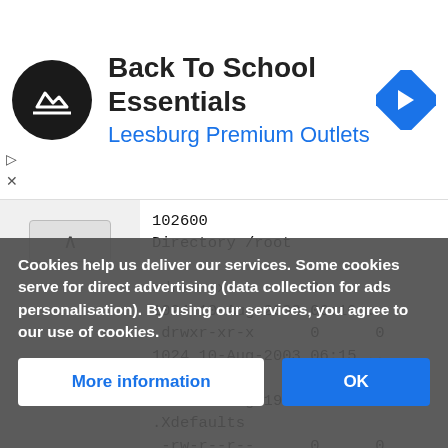[Figure (screenshot): Ad banner for Back To School Essentials at Leesburg Premium Outlets with circular logo and navigation icon]
102600
Directory /root

>drwxr-x---      0      0
1024 10-Aug-2003 06:10 .
 drwxr-xr-x      0      0
1024 10-Aug-2003 06:15 ..
 -rw-r--r--      0      0
1126 23-Aug-1995 21:02
.Xdefaults
 -rw-r--r--      0      0
  24 14-Jul-1994 03:57
 .bash_logout
Cookies help us deliver our services. Some cookies serve for direct advertising (data collection for ads personalisation). By using our services, you agree to our use of cookies.
More information
OK